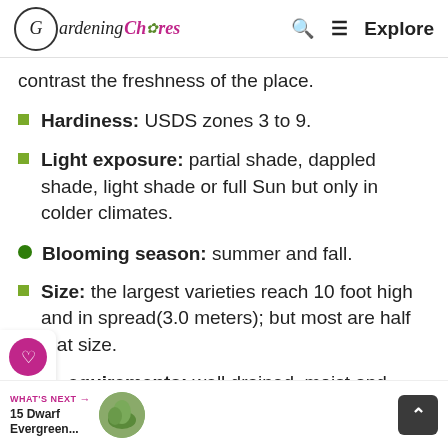Gardening Chores — Q Explore
contrast the freshness of the place.
Hardiness: USDS zones 3 to 9.
Light exposure: partial shade, dappled shade, light shade or full Sun but only in colder climates.
Blooming season: summer and fall.
Size: the largest varieties reach 10 foot high and in spread(3.0 meters); but most are half that size.
Soil requirements: well drained, moist and medium rich loam, clay or
WHAT'S NEXT → 15 Dwarf Evergreen...